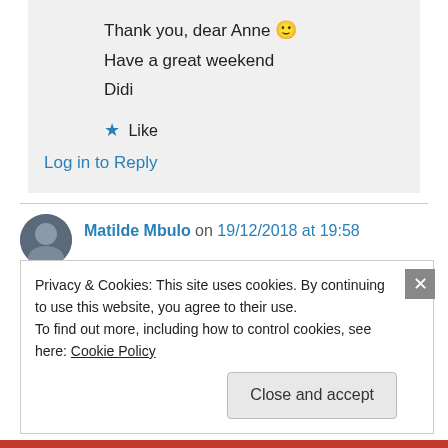Thank you, dear Anne 🙂
Have a great weekend
Didi
★ Like
Log in to Reply
Matilde Mbulo on 19/12/2018 at 19:58
👍 0 👎 0 ℹ Rate This
Privacy & Cookies: This site uses cookies. By continuing to use this website, you agree to their use.
To find out more, including how to control cookies, see here: Cookie Policy
Close and accept